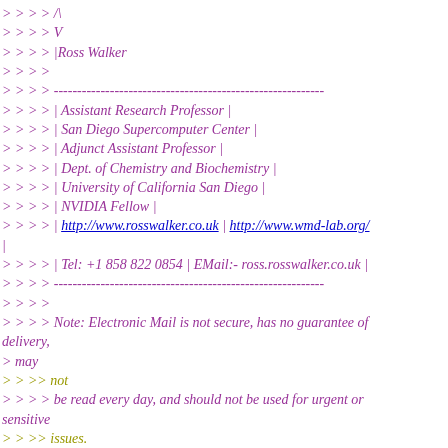> > > > /\
> > > > V
> > > > |Ross Walker
> > > >
> > > > ----------------------------------------------------------
> > > > | Assistant Research Professor |
> > > > | San Diego Supercomputer Center |
> > > > | Adjunct Assistant Professor |
> > > > | Dept. of Chemistry and Biochemistry |
> > > > | University of California San Diego |
> > > > | NVIDIA Fellow |
> > > > | http://www.rosswalker.co.uk | http://www.wmd-lab.org/
|
> > > > | Tel: +1 858 822 0854 | EMail:- ross.rosswalker.co.uk |
> > > > ----------------------------------------------------------
> > > >
> > > > Note: Electronic Mail is not secure, has no guarantee of delivery,
> may
> > > > not
> > > > > be read every day, and should not be used for urgent or sensitive
> > > > issues.
> > > >
> > > >